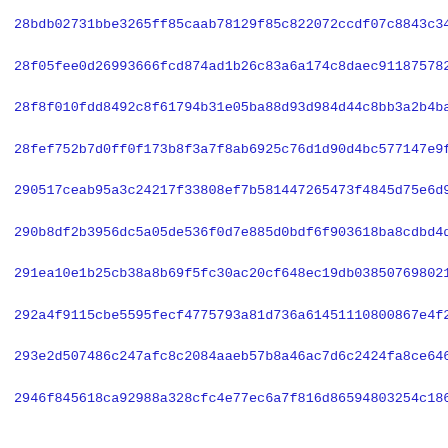28bdb02731bbe3265ff85caab78129f85c822072ccdf07c8843c3480cb8ea
28f05fee0d26993666fcd874ad1b26c83a6a174c8daec9118757820b29b2c
28f8f010fdd8492c8f61794b31e05ba88d93d984d44c8bb3a2b4ba6a07695
28fef752b7d0ff0f173b8f3a7f8ab6925c76d1d90d4bc577147e9fb979c8f
290517ceab95a3c24217f33808ef7b581447265473f4845d75e6d913d7a5a
290b8df2b3956dc5a05de536f0d7e885d0bdf6f903618ba8cdbd4d57b192f
291ea10e1b25cb38a8b69f5fc30ac20cf648ec19db03850769802198810d5
292a4f9115cbe5595fecf4775793a81d736a61451110800867e4f2e78ea25
293e2d507486c247afc8c2084aaeb57b8a46ac7d6c2424fa8ce646316c633
2946f845618ca92988a328cfc4e77ec6a7f816d86594803254c18698bc7ea